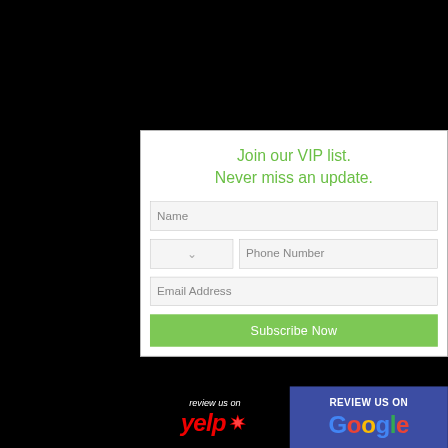Join our VIP list.
Never miss an update.
Name
Phone Number
Email Address
Subscribe Now
[Figure (logo): Yelp review us on badge with red yelp logo and burst icon on black background]
[Figure (logo): Google review us on badge with Google logo text on blue/indigo background]